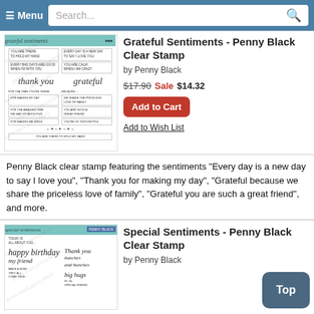≡ Menu  Search...
[Figure (photo): Grateful Sentiments clear stamp sheet with multiple sentiment text lines and script words 'thank you' and 'grateful', with penny black watermark]
Grateful Sentiments - Penny Black Clear Stamp
by Penny Black
$17.90 Sale $14.32
Add to Cart
Add to Wish List
Penny Black clear stamp featuring the sentiments "Every day is a new day to say I love you", "Thank you for making my day", "Grateful because we share the priceless love of family", "Grateful you are such a great friend", and more.
[Figure (photo): Special Sentiments clear stamp sheet with 'happy birthday', 'Thank you', 'big hugs' script and other sentiments, with penny black watermark]
Special Sentiments - Penny Black Clear Stamp
by Penny Black